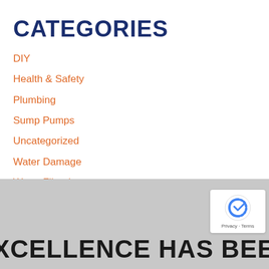CATEGORIES
DIY
Health & Safety
Plumbing
Sump Pumps
Uncategorized
Water Damage
Water Filtration
Water Heaters
[Figure (photo): Gray/light background photo with text 'EXCELLENCE HAS BEEN' in large bold black uppercase letters at the bottom]
EXCELLENCE HAS BEEN